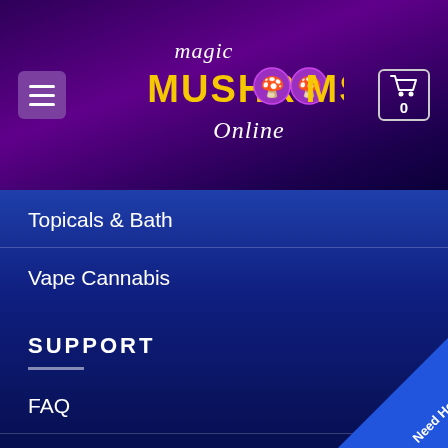[Figure (screenshot): Magic Mushrooms Online website header with purple gradient background, hamburger menu button on left, logo in center, cart icon with 0 on right]
Topicals & Bath
Vape Cannabis
SUPPORT
FAQ
Terms & Conditions
Shipping
Return Policy
Privacy Policy